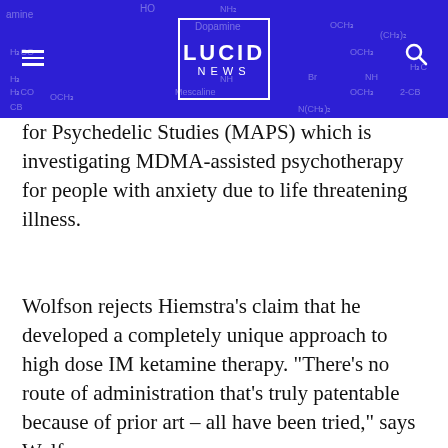[Figure (logo): Lucid News website header with blue/purple background showing chemical structure diagrams, a centered LUCID NEWS logo in a white bordered box, a hamburger menu icon on the left, and a search icon on the right.]
for Psychedelic Studies (MAPS) which is investigating MDMA-assisted psychotherapy for people with anxiety due to life threatening illness.
Wolfson rejects Hiemstra’s claim that he developed a completely unique approach to high dose IM ketamine therapy. “There’s no route of administration that’s truly patentable because of prior art – all have been tried,” says Wolfson.